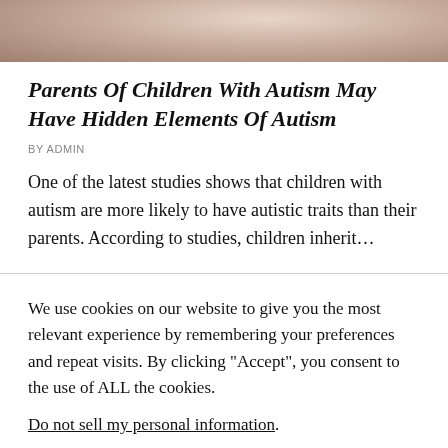[Figure (photo): Cropped photo of a baby/infant lying down, with an adult visible in the background]
Parents Of Children With Autism May Have Hidden Elements Of Autism
BY ADMIN
One of the latest studies shows that children with autism are more likely to have autistic traits than their parents. According to studies, children inherit…
We use cookies on our website to give you the most relevant experience by remembering your preferences and repeat visits. By clicking “Accept”, you consent to the use of ALL the cookies.
Do not sell my personal information.